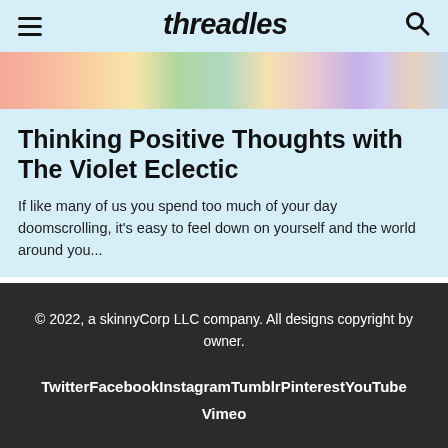Threadless (logo) — hamburger menu and search icon
[Figure (illustration): Colorful decorative image strip with illustrated elements in pink, green, yellow, and purple tones]
Thinking Positive Thoughts with The Violet Eclectic
If like many of us you spend too much of your day doomscrolling, it's easy to feel down on yourself and the world around you...
© 2022, a skinnyCorp LLC company. All designs copyright by owner.
Twitter   Facebook   Instagram   Tumblr   Pinterest   YouTube   Vimeo